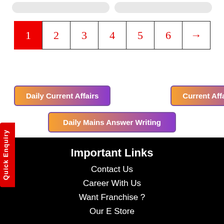[Figure (screenshot): Two pill-shaped grey navigation elements at top]
1 (active/selected page)
2
3
4
5
6
→
Daily Current Affairs
Current Affairs Quiz
Daily Mains Answer Writing
Quick Enquiry
Important Links
Contact Us
Career With Us
Want Franchise ?
Our E Store